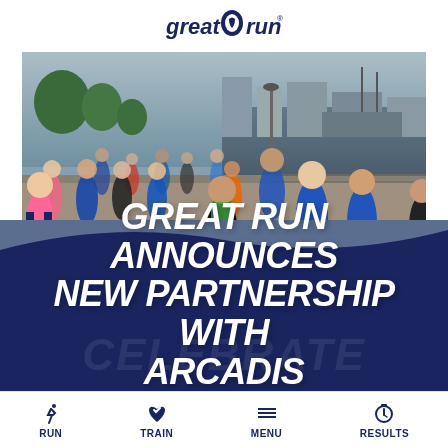[Figure (logo): Great Run logo in dark blue and navy, with a stylized footprint/runner icon between the words 'great' and 'run']
[Figure (photo): Large group of runners in a road race along a waterfront/riverside path, with buildings and a tall ship visible in the background. Overcast sky. Runners wearing race numbers and athletic gear.]
GREAT RUN ANNOUNCES NEW PARTNERSHIP WITH ARCADIS
RUN   TRAIN   MENU   RESULTS